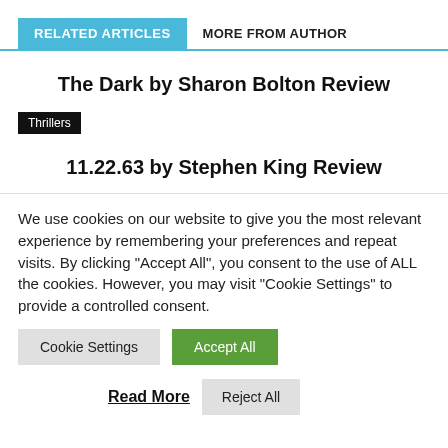RELATED ARTICLES | MORE FROM AUTHOR
The Dark by Sharon Bolton Review
Thrillers
11.22.63 by Stephen King Review
We use cookies on our website to give you the most relevant experience by remembering your preferences and repeat visits. By clicking “Accept All”, you consent to the use of ALL the cookies. However, you may visit "Cookie Settings" to provide a controlled consent.
Cookie Settings | Accept All
Read More | Reject All